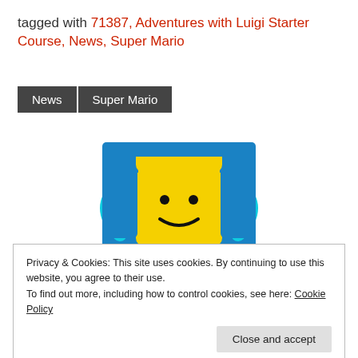tagged with 71387, Adventures with Luigi Starter Course, News, Super Mario
News  Super Mario
[Figure (logo): LEGO fan/recognized blogger logo showing a yellow LEGO minifigure head with smiley face on a blue background with cyan bracket shapes on sides]
RECOGNIZED
Privacy & Cookies: This site uses cookies. By continuing to use this website, you agree to their use. To find out more, including how to control cookies, see here: Cookie Policy
Close and accept